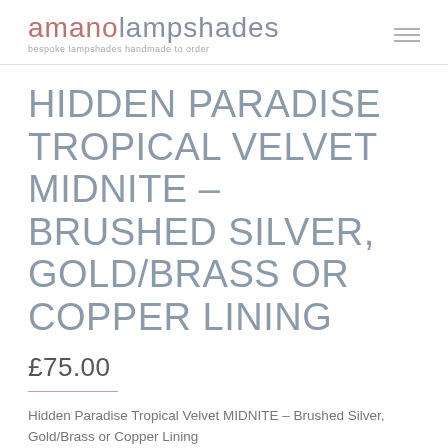amanolampshades — bespoke lampshades handmade to order
HIDDEN PARADISE TROPICAL VELVET MIDNITE – BRUSHED SILVER, GOLD/BRASS OR COPPER LINING
£75.00
Hidden Paradise Tropical Velvet MIDNITE – Brushed Silver, Gold/Brass or Copper Lining